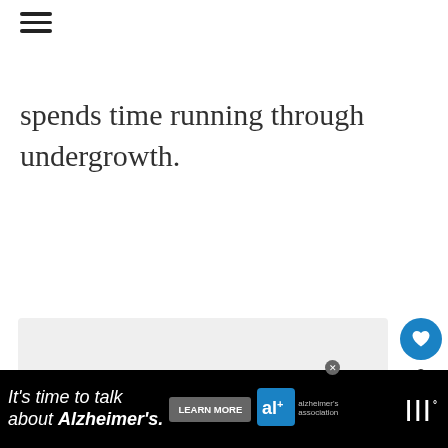☰
spends time running through undergrowth.
[Figure (photo): Image carousel placeholder with light gray background and three pagination dots]
WHAT'S NEXT → Best Collars for Labrador...
It's time to talk about Alzheimer's. LEARN MORE